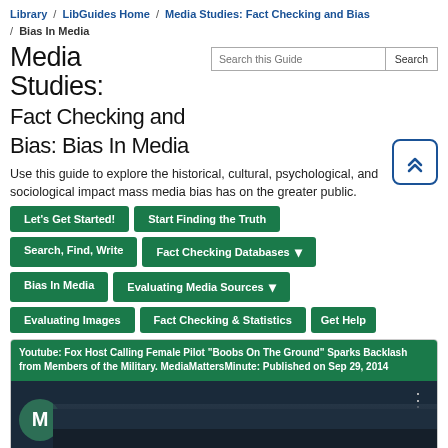Library / LibGuides Home / Media Studies: Fact Checking and Bias / Bias In Media
Media Studies: Fact Checking and Bias: Bias In Media
Use this guide to explore the historical, cultural, psychological, and sociological impact mass media bias has on the greater public.
Let's Get Started!
Start Finding the Truth
Search, Find, Write
Fact Checking Databases
Bias In Media
Evaluating Media Sources
Evaluating Images
Fact Checking & Statistics
Get Help
Youtube: Fox Host Calling Female Pilot "Boobs On The Ground" Sparks Backlash from Members of the Military. MediaMattersMinute: Published on Sep 29, 2014
[Figure (screenshot): YouTube video thumbnail showing 'Fox Host Calling Fe...' with MediaMatters M logo icon, dark background with person visible]